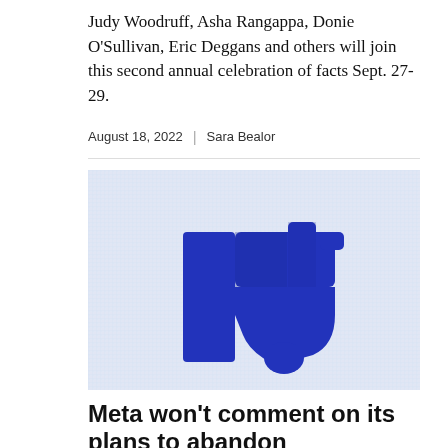Judy Woodruff, Asha Rangappa, Donie O'Sullivan, Eric Deggans and others will join this second annual celebration of facts Sept. 27-29.
August 18, 2022 | Sara Bealor
[Figure (photo): A pixelated blue thumbs-down icon on a light grid/screen background, shown close-up with visible RGB pixel structure.]
Meta won't comment on its plans to abandon CrowdTangle